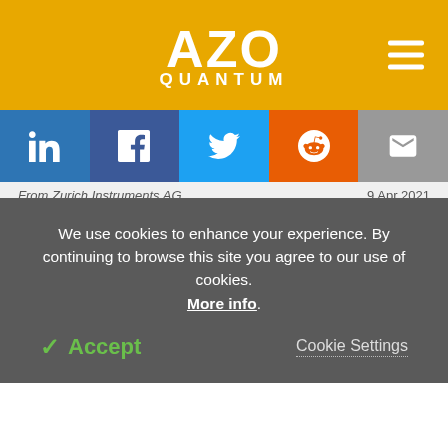AZO QUANTUM
[Figure (infographic): Social share buttons: LinkedIn, Facebook, Twitter, Reddit, Email]
From Zurich Instruments AG   9 Apr 2021
Researchers Exploit the Color Centers in Diamond to Enhance Dynamic Nuclear Polarization Processes for NMR Applications
From Springer - Science and Technology Publishers   5 Apr 2017
Application of Electro-Optic Phase Modulator in
We use cookies to enhance your experience. By continuing to browse this site you agree to our use of cookies. More info.
✓ Accept   Cookie Settings